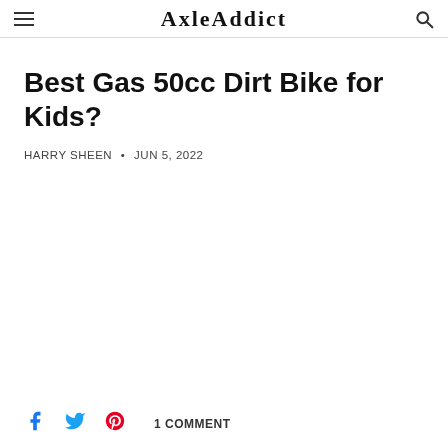AxleAddict
Best Gas 50cc Dirt Bike for Kids?
HARRY SHEEN • JUN 5, 2022
1 COMMENT